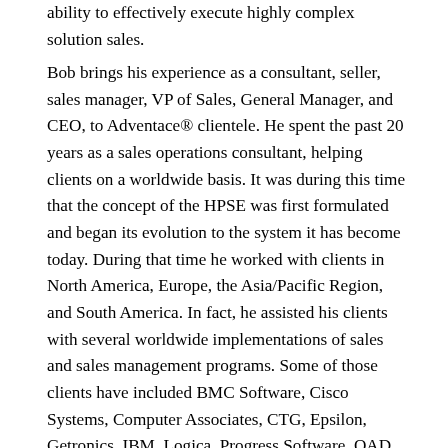ability to effectively execute highly complex solution sales.
Bob brings his experience as a consultant, seller, sales manager, VP of Sales, General Manager, and CEO, to Adventace® clientele. He spent the past 20 years as a sales operations consultant, helping clients on a worldwide basis. It was during this time that the concept of the HPSE was first formulated and began its evolution to the system it has become today. During that time he worked with clients in North America, Europe, the Asia/Pacific Region, and South America. In fact, he assisted his clients with several worldwide implementations of sales and sales management programs. Some of those clients have included BMC Software, Cisco Systems, Computer Associates, CTG, Epsilon, Getronics, IBM, Logica, Progress Software, QAD, SunGard, Tandem Computers (now a division of HP), and Unisys. He has trained and consulted to over 20,000 executives